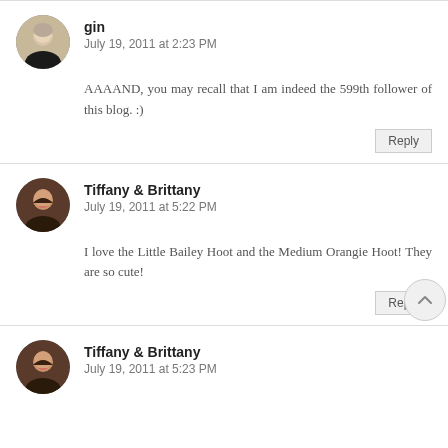[Figure (photo): Circular avatar photo of gin, woman with light hair]
gin
July 19, 2011 at 2:23 PM
AAAAND, you may recall that I am indeed the 599th follower of this blog. :)
Reply
[Figure (photo): Circular avatar photo of Tiffany & Brittany, woman with dark hair smiling]
Tiffany & Brittany
July 19, 2011 at 5:22 PM
I love the Little Bailey Hoot and the Medium Orangie Hoot! They are so cute!
Reply
[Figure (photo): Circular avatar photo of Tiffany & Brittany, same woman smiling]
Tiffany & Brittany
July 19, 2011 at 5:23 PM